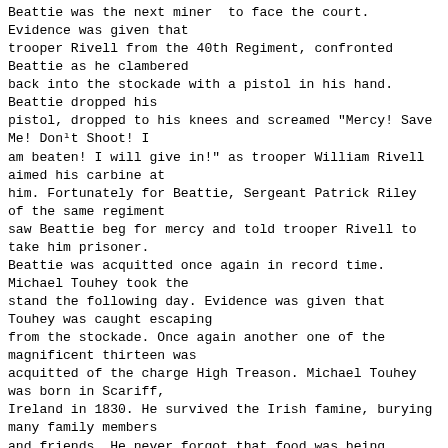Beattie was the next miner to face the court. Evidence was given that trooper Rivell from the 40th Regiment, confronted Beattie as he clambered back into the stockade with a pistol in his hand. Beattie dropped his pistol, dropped to his knees and screamed "Mercy! Save Me! Don¹t Shoot! I am beaten! I will give in!" as trooper William Rivell aimed his carbine at him. Fortunately for Beattie, Sergeant Patrick Riley of the same regiment saw Beattie beg for mercy and told trooper Rivell to take him prisoner. Beattie was acquitted once again in record time. Michael Touhey took the stand the following day. Evidence was given that Touhey was caught escaping from the stockade. Once again another one of the magnificent thirteen was acquitted of the charge High Treason. Michael Touhey was born in Scariff, Ireland in 1830. He survived the Irish famine, burying many family members and friends. He never forgot that food was being exported from Ireland to line the pockets of English absentee landlords, while a million Irish men, women and children died and a further million were forced to immigrate. On the matter of immigration details...